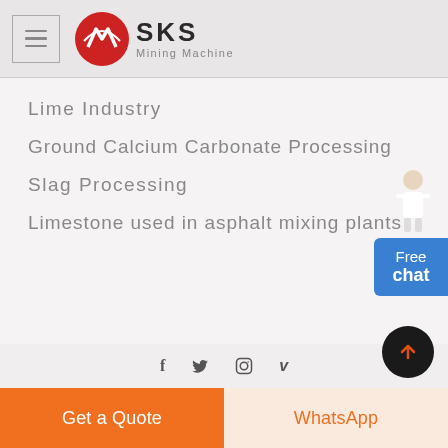[Figure (logo): SKS Mining Machine logo with red circle icon and hamburger menu button]
Lime Industry
Ground Calcium Carbonate Processing
Slag Processing
Limestone used in asphalt mixing plants
f  twitter  instagram  v  |  Get a Quote  |  WhatsApp